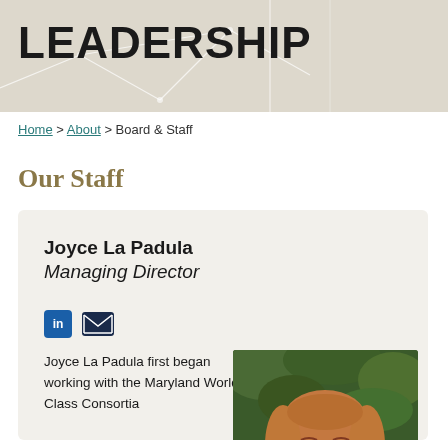[Figure (illustration): Header banner with 'LEADERSHIP' text on a beige/tan background with abstract white geometric line patterns]
Home > About > Board & Staff
Our Staff
Joyce La Padula
Managing Director
[Figure (illustration): LinkedIn icon (blue square with 'in') and email envelope icon]
Joyce La Padula first began working with the Maryland World Class Consortia
[Figure (photo): Headshot of Joyce La Padula, a woman with long reddish-blonde hair and blue eyes, in front of green foliage]